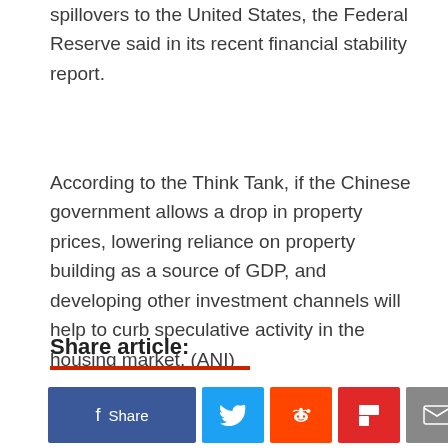spillovers to the United States, the Federal Reserve said in its recent financial stability report.
According to the Think Tank, if the Chinese government allows a drop in property prices, lowering reliance on property building as a source of GDP, and developing other investment channels will help to curb speculative activity in the housing market. (ANI)
Share article: